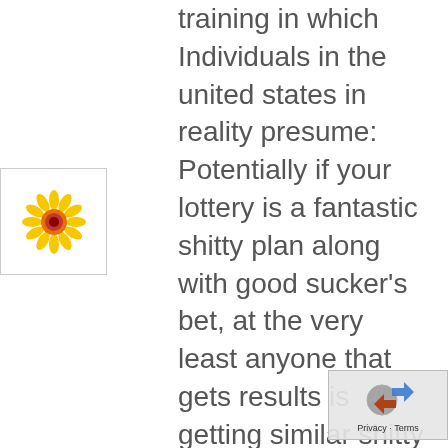training in which Individuals in the united states in reality presume: Potentially if your lottery is a fantastic shitty plan along with good sucker's bet, at the very least anyone that gets results is getting similar shitty package. Implement this type of few moments for the duration of generating income on-line by merely doing on-line black jack utilizing
[Figure (illustration): Small flower/sunflower icon with yellow petals and red/orange center, inside a white box with a light gray border]
[Figure (logo): reCAPTCHA logo (globe with arrows) in a gray privacy/terms box in the bottom right corner, with 'Privacy · Terms' text below]